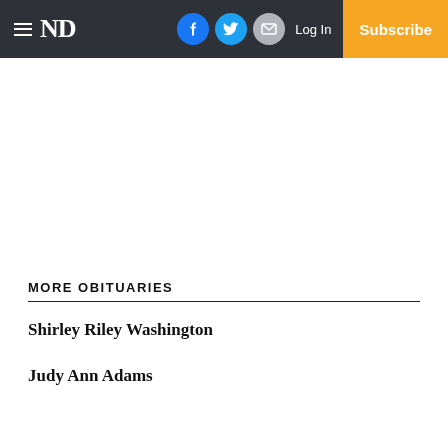ND — Log In — Subscribe
MORE OBITUARIES
Shirley Riley Washington
Judy Ann Adams